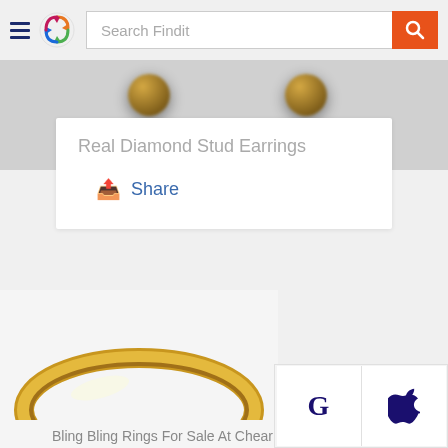[Figure (screenshot): Findit app header with hamburger menu, circular logo with colored arrows, search bar reading 'Search Findit', and orange search button with magnifying glass icon]
[Figure (photo): Partial view of diamond stud earrings on gray background]
Real Diamond Stud Earrings
Share
[Figure (photo): Gold wedding band ring partially visible at bottom of page]
Bling Bling Rings For Sale At Chear
[Figure (screenshot): Sign-in options panel showing Google 'G' logo and Apple logo buttons]